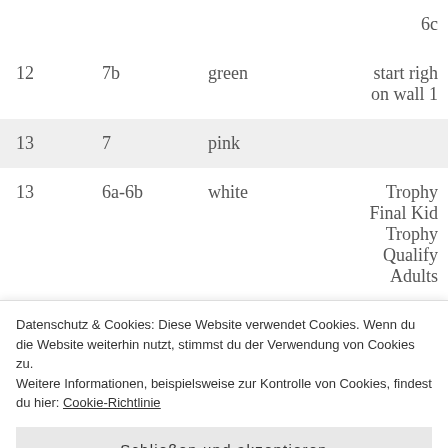| # | Sub | Color | Description |
| --- | --- | --- | --- |
|  |  |  | 6c |
| 12 | 7b | green | start righ on wall 1 |
| 13 | 7 | pink |  |
| 13 | 6a-6b | white | Trophy Final Kid Trophy Qualify Adults |
Datenschutz & Cookies: Diese Website verwendet Cookies. Wenn du die Website weiterhin nutzt, stimmst du der Verwendung von Cookies zu.
Weitere Informationen, beispielsweise zur Kontrolle von Cookies, findest du hier: Cookie-Richtlinie
Schließen und akzeptieren